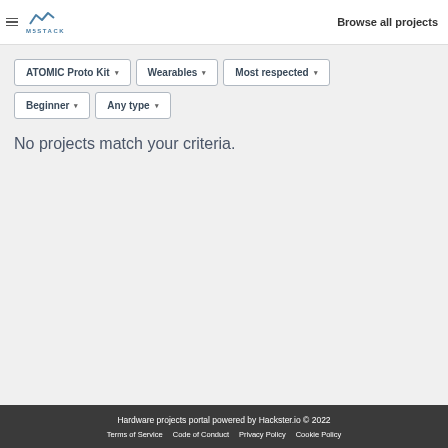Browse all projects
ATOMIC Proto Kit ▾
Wearables ▾
Most respected ▾
Beginner ▾
Any type ▾
No projects match your criteria.
Hardware projects portal powered by Hackster.io © 2022
Terms of Service   Code of Conduct   Privacy Policy   Cookie Policy